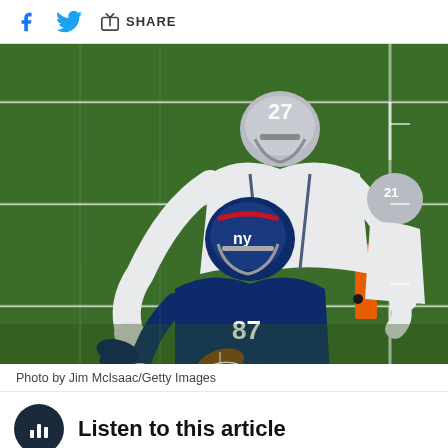[Figure (other): Social share bar with Facebook icon, Twitter bird icon, and share/upload icon with SHARE label]
[Figure (photo): NFL football game action photo: New York Giants wide receiver #87 in blue uniform making a catch near the end zone pylon, being tackled by Dallas Cowboys defender #27 in white uniform. Green turf field with yard lines visible. Photo by Jim McIsaac/Getty Images.]
Photo by Jim McIsaac/Getty Images
Listen to this article